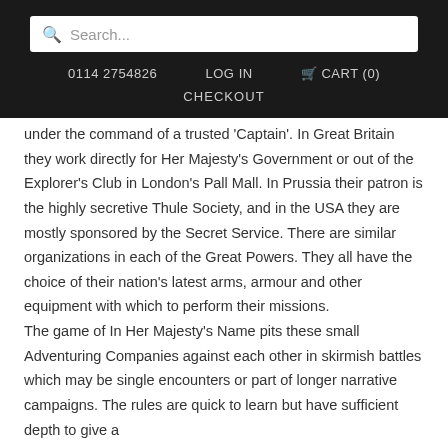Search... | 0114 2754826 | LOG IN | CART (0) | CHECKOUT
under the command of a trusted 'Captain'. In Great Britain they work directly for Her Majesty's Government or out of the Explorer's Club in London's Pall Mall. In Prussia their patron is the highly secretive Thule Society, and in the USA they are mostly sponsored by the Secret Service. There are similar organizations in each of the Great Powers. They all have the choice of their nation's latest arms, armour and other equipment with which to perform their missions.
The game of In Her Majesty's Name pits these small Adventuring Companies against each other in skirmish battles which may be single encounters or part of longer narrative campaigns. The rules are quick to learn but have sufficient depth to give a